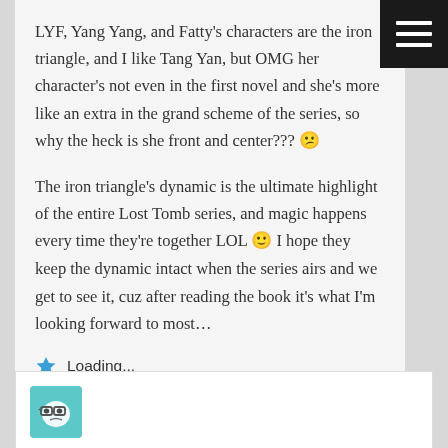LYF, Yang Yang, and Fatty's characters are the iron triangle, and I like Tang Yan, but OMG her character's not even in the first novel and she's more like an extra in the grand scheme of the series, so why the heck is she front and center??? 😕
The iron triangle's dynamic is the ultimate highlight of the entire Lost Tomb series, and magic happens every time they're together LOL 🙂 I hope they keep the dynamic intact when the series airs and we get to see it, cuz after reading the book it's what I'm looking forward to most…
⭐ Loading...
[Figure (illustration): Avatar icon: teal/blue square avatar with a cartoon face wearing glasses, bottom of page]